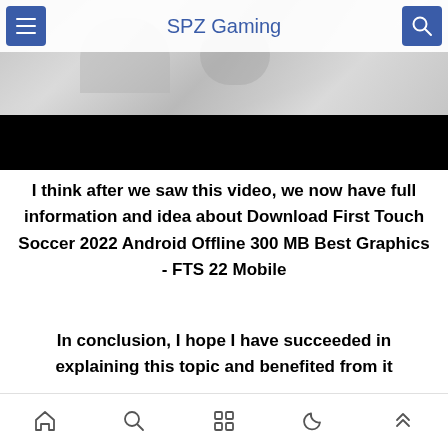SPZ Gaming
[Figure (screenshot): Screenshot of a mobile gaming website header with blurred background image (soccer/football related) and a black banner at the bottom of the image area]
I think after we saw this video, we now have full information and idea about Download First Touch Soccer 2022 Android Offline 300 MB Best Graphics - FTS 22 Mobile
In conclusion, I hope I have succeeded in explaining this topic and benefited from it
Navigation bar with home, search, apps, night mode, and scroll-up icons